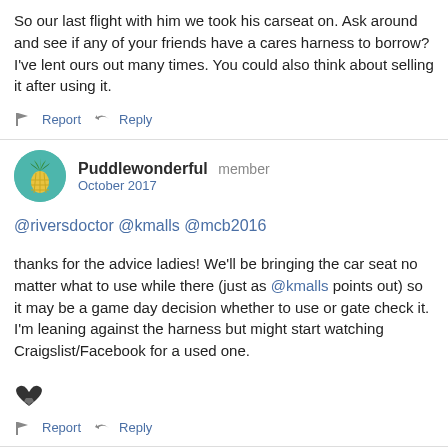So our last flight with him we took his carseat on. Ask around and see if any of your friends have a cares harness to borrow? I've lent ours out many times. You could also think about selling it after using it.
Report  Reply
Puddlewonderful member
October 2017
@riversdoctor @kmalls @mcb2016
thanks for the advice ladies! We'll be bringing the car seat no matter what to use while there (just as @kmalls points out) so it may be a game day decision whether to use or gate check it. I'm leaning against the harness but might start watching Craigslist/Facebook for a used one.
Report  Reply
sweetpeamm13  member